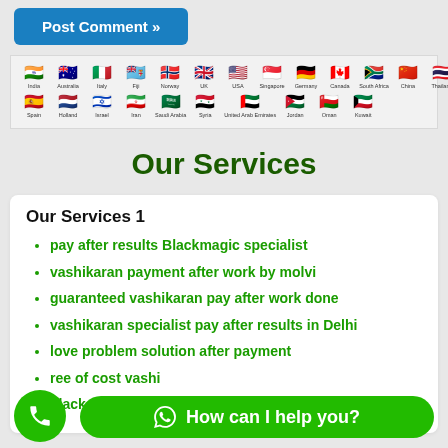[Figure (other): Post Comment button (blue rounded rectangle)]
[Figure (other): Row of country flags with labels: India, Australia, Italy, Fiji, Norway, UK, USA, Singapore, Germany, Canada, South Africa, China, Thailand, New Zealand, Switzerland (top row) and Spain, Holland, Israel, Iran, Saudi Arabia, Syria, United Arab Emirates, Jordan, Oman, Kuwait (bottom row)]
Our Services
Our Services 1
pay after results Blackmagic specialist
vashikaran payment after work by molvi
guaranteed vashikaran pay after work done
vashikaran specialist pay after results in Delhi
love problem solution after payment
ree of cost vashi…
black magic for love payment after results
[Figure (other): Green circular phone call button]
[Figure (other): Green WhatsApp button with WhatsApp icon and text 'How can I help you?']